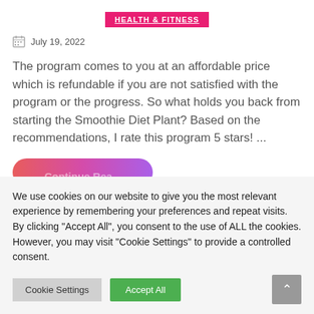HEALTH & FITNESS
July 19, 2022
The program comes to you at an affordable price which is refundable if you are not satisfied with the program or the progress. So what holds you back from starting the Smoothie Diet Plant? Based on the recommendations, I rate this program 5 stars! ...
[Figure (other): Partially visible pink-purple gradient button with text Continue Reading]
We use cookies on our website to give you the most relevant experience by remembering your preferences and repeat visits. By clicking "Accept All", you consent to the use of ALL the cookies. However, you may visit "Cookie Settings" to provide a controlled consent.
Cookie Settings | Accept All